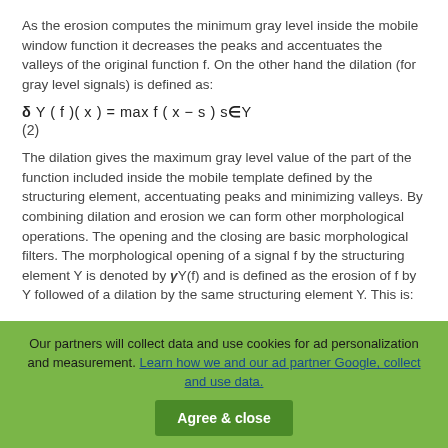As the erosion computes the minimum gray level inside the mobile window function it decreases the peaks and accentuates the valleys of the original function f. On the other hand the dilation (for gray level signals) is defined as:
The dilation gives the maximum gray level value of the part of the function included inside the mobile template defined by the structuring element, accentuating peaks and minimizing valleys. By combining dilation and erosion we can form other morphological operations. The opening and the closing are basic morphological filters. The morphological opening of a signal f by the structuring element Y is denoted by γY(f) and is defined as the erosion of f by Y followed of a dilation by the same structuring element Y. This is:
Our partners will collect data and use cookies for ad personalization and measurement. Learn how we and our ad partner Google, collect and use data.
Agree & close